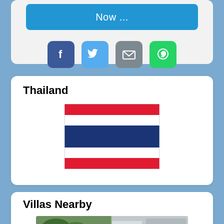[Figure (screenshot): Blue button with text 'Now ...']
[Figure (infographic): Social media share buttons: Facebook (blue), Twitter (light blue), Email (gray), WhatsApp (green)]
Thailand
[Figure (illustration): Thai flag with red, white, blue, white, red horizontal stripes]
Villas Nearby
[Figure (photo): Photo of villas nearby, showing greenery and white building]